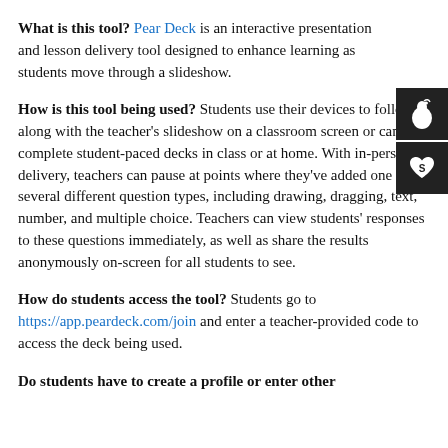What is this tool? Pear Deck is an interactive presentation and lesson delivery tool designed to enhance learning as students move through a slideshow.
How is this tool being used? Students use their devices to follow along with the teacher's slideshow on a classroom screen or can complete student-paced decks in class or at home. With in-person delivery, teachers can pause at points where they've added one of several different question types, including drawing, dragging, text, number, and multiple choice. Teachers can view students' responses to these questions immediately, as well as share the results anonymously on-screen for all students to see.
How do students access the tool? Students go to https://app.peardeck.com/join and enter a teacher-provided code to access the deck being used.
Do students have to create a profile or enter other